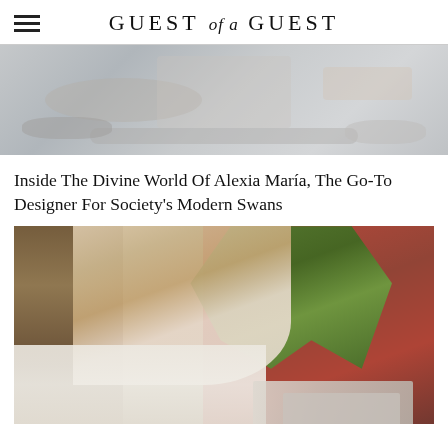GUEST of a GUEST
[Figure (photo): Photo of a woman in a light-colored studio/yoga space with bolsters and cushions on the floor]
Inside The Divine World Of Alexia María, The Go-To Designer For Society's Modern Swans
[Figure (photo): Portrait photo of a young woman with long highlighted brown hair wearing a white top, seated near large windows with a green palm plant and red building visible in the background, with books on the table]